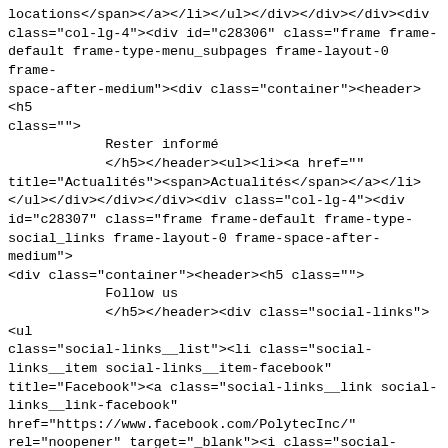locations</span></a></li></ul></div></div></div><div class="col-lg-4"><div id="c28306" class="frame frame-default frame-type-menu_subpages frame-layout-0 frame-space-after-medium"><div class="container"><header><h5 class="">
            Rester informé
            </h5></header><ul><li><a href="" title="Actualités"><span>Actualités</span></a></li></ul></div></div></div><div class="col-lg-4"><div id="c28307" class="frame frame-default frame-type-social_links frame-layout-0 frame-space-after-medium"><div class="container"><header><h5 class="">
            Follow us
            </h5></header><div class="social-links"><ul class="social-links__list"><li class="social-links__item social-links__item-facebook" title="Facebook"><a class="social-links__link social-links__link-facebook" href="https://www.facebook.com/PolytecInc/" rel="noopener" target="_blank"><i class="social-links__icon  icon-facebook"></i></a></li><li class="social-links__item social-links__item-twitter" title="Twitter"><a class="social-links__link social-links__link-twitter" href="https://twitter.com/PolytecFrance" rel="noopener" target="_blank"><i class="social-links__icon  icon-twitter"></i></a></li><li class="social-links__item social-links__item-linkedin" title="LinkedIn"><a class="social-links__link social-links__link-linkedin" href="https://www.linkedin.com/company/polytec-france/" rel="noopener" target="_blank"><i class="social-links__icon  icon-